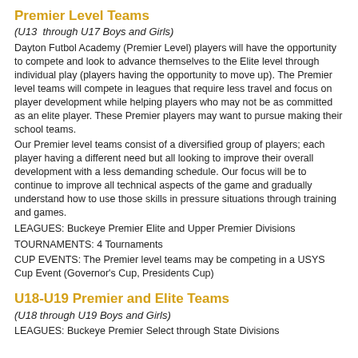Premier Level Teams
(U13  through U17 Boys and Girls)
Dayton Futbol Academy (Premier Level) players will have the opportunity to compete and look to advance themselves to the Elite level through individual play (players having the opportunity to move up). The Premier level teams will compete in leagues that require less travel and focus on player development while helping players who may not be as committed as an elite player. These Premier players may want to pursue making their school teams.
Our Premier level teams consist of a diversified group of players; each player having a different need but all looking to improve their overall development with a less demanding schedule. Our focus will be to continue to improve all technical aspects of the game and gradually understand how to use those skills in pressure situations through training and games.
LEAGUES: Buckeye Premier Elite and Upper Premier Divisions
TOURNAMENTS: 4 Tournaments
CUP EVENTS: The Premier level teams may be competing in a USYS Cup Event (Governor's Cup, Presidents Cup)
U18-U19 Premier and Elite Teams
(U18 through U19 Boys and Girls)
LEAGUES: Buckeye Premier Select through State Divisions